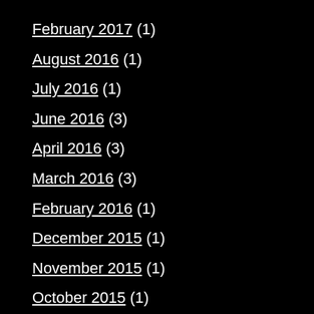February 2017 (1)
August 2016 (1)
July 2016 (1)
June 2016 (3)
April 2016 (3)
March 2016 (3)
February 2016 (1)
December 2015 (1)
November 2015 (1)
October 2015 (1)